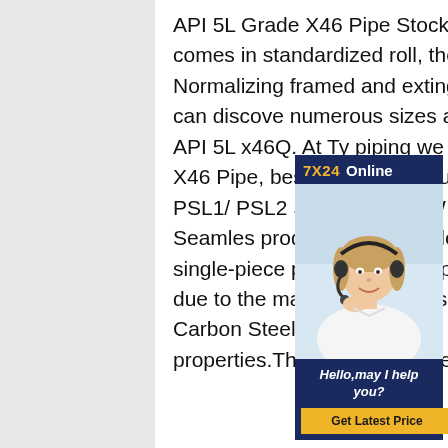API 5L Grade X46 Pipe Stockist in India. L320 or X46 Pipes comes in standardized roll, thermomechanical moved, Normalizing framed and extinguished. In Our Ready stock you can discover numerous sizes and Schedule in X46N, L320Q-API 5L x46Q. At Tycoon piping we offer Schedule 10, SCH 40, Sch 160 X46 Pipe, best api 5l x46 youtube API 5L X46 Pipe and Grade PSL1/ PSL2 Seamless/ ERW api 5l youtube The API 5L X46 Seamless pipe produced from a billet as it is passed over the steel. This single-piece pipe is a little expensive and extremely strong due to the material used in its processing. The API 5L X 46 Carbon Steel Seamless Pipe possesses excellent mechanical properties. These pipes are designed with
[Figure (photo): Customer service chat widget showing a woman with a headset smiling, with '7X24 Online' header text in yellow and white on dark blue background, and 'Hello, may I help you?' text with a 'Get Latest Price' button.]